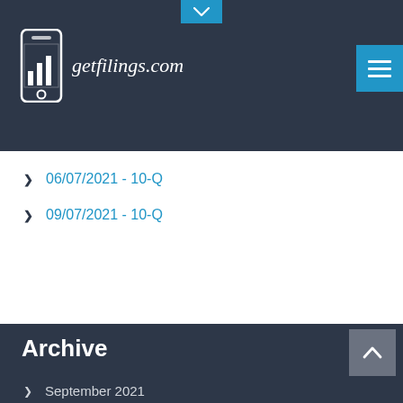getfilings.com
06/07/2021 - 10-Q
09/07/2021 - 10-Q
Archive
September 2021
August 2021
July 2021